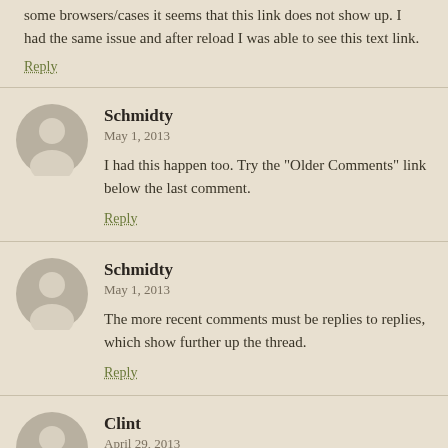some browsers/cases it seems that this link does not show up. I had the same issue and after reload I was able to see this text link.
Reply
Schmidty
May 1, 2013
I had this happen too. Try the "Older Comments" link below the last comment.
Reply
Schmidty
May 1, 2013
The more recent comments must be replies to replies, which show further up the thread.
Reply
Clint
April 29, 2013
The morality is, it's moral (in my opinion). You're